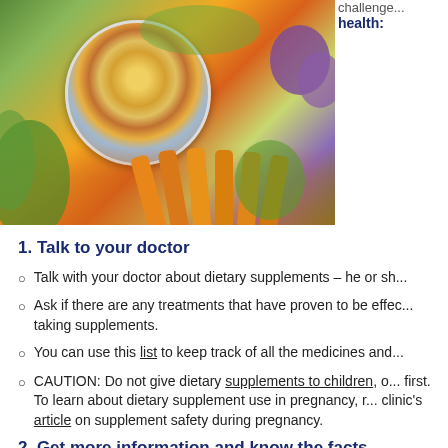[Figure (photo): Photo of colorful vegetables and carrots in the background with a circular inset showing dietary supplement pills and capsules in a spoon.]
challenge... health:
1. Talk to your doctor
Talk with your doctor about dietary supplements – he or sh...
Ask if there are any treatments that have proven to be effec... taking supplements.
You can use this list to keep track of all the medicines and...
CAUTION: Do not give dietary supplements to children, o... first. To learn about dietary supplement use in pregnancy, r... clinic's article on supplement safety during pregnancy.
2. Get more information and know the facts